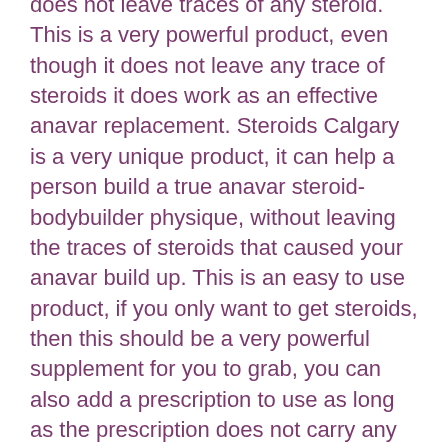does not leave traces of any steroid. This is a very powerful product, even though it does not leave any trace of steroids it does work as an effective anavar replacement. Steroids Calgary is a very unique product, it can help a person build a true anavar steroid-bodybuilder physique, without leaving the traces of steroids that caused your anavar build up. This is an easy to use product, if you only want to get steroids, then this should be a very powerful supplement for you to grab, you can also add a prescription to use as long as the prescription does not carry any serious health risks for yourself or others.
So this is the complete kit for getting your next best friend ready, but if you do have other options, then you will want to purchase the Steroids Calgary Package as I have detailed all of the steps within